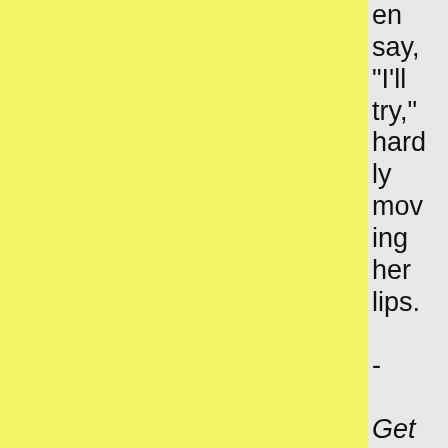en say, "I'll try," hardly moving her lips.

-

Get Paid to do Homework! the job